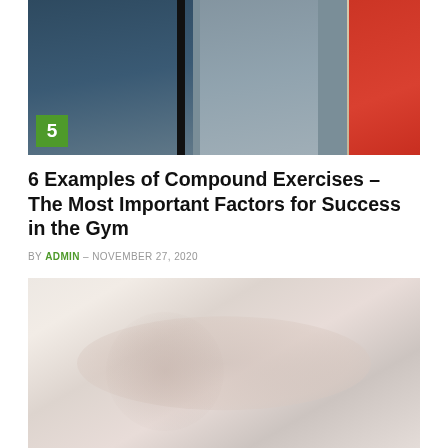[Figure (photo): Person doing pull-ups on a gym rack with ropes and red equipment visible in the background. Number badge '5' in green in bottom left corner.]
6 Examples of Compound Exercises – The Most Important Factors for Success in the Gym
BY ADMIN - NOVEMBER 27, 2020
[Figure (photo): Close-up photo of gym weights/dumbbells, faded/blurred light pinkish-grey tones.]